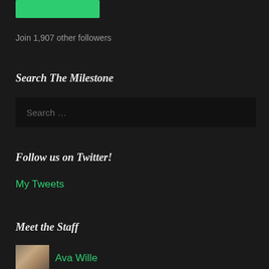[Figure (other): Green button/banner at top]
Join 1,907 other followers
Search The Milestone
[Figure (other): Search input box with placeholder text 'Search ...']
Follow us on Twitter!
My Tweets
Meet the Staff
[Figure (photo): Staff photo thumbnail of Ava Wille]
Ava Wille